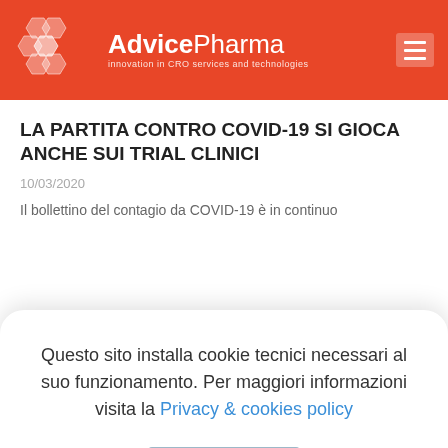[Figure (logo): AdvicePharma logo with honeycomb hexagon icons on red header background. Text: 'AdvicePharma – Innovation in CRO services and technologies']
LA PARTITA CONTRO COVID-19 SI GIOCA ANCHE SUI TRIAL CLINICI
10/03/2020
Il bollettino del contagio da COVID-19 è in continuo
Questo sito installa cookie tecnici necessari al suo funzionamento. Per maggiori informazioni visita la Privacy & cookies policy
Chiudi